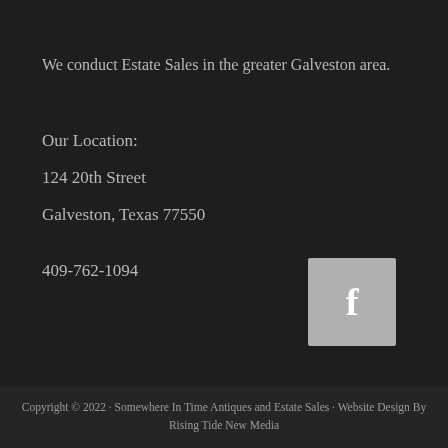We conduct Estate Sales in the greater Galveston area.
Our Location:
124 20th Street
Galveston, Texas 77550
409-762-1094
[Figure (logo): Facebook icon button — grey square with white letter f]
Copyright © 2022 · Somewhere In Time Antiques and Estate Sales · Website Design By Rising Tide New Media